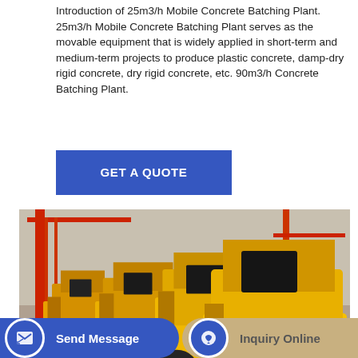Introduction of 25m3/h Mobile Concrete Batching Plant. 25m3/h Mobile Concrete Batching Plant serves as the movable equipment that is widely applied in short-term and medium-term projects to produce plastic concrete, damp-dry rigid concrete, dry rigid concrete, etc. 90m3/h Concrete Batching Plant.
[Figure (other): Blue rectangular button with white text reading GET A QUOTE]
[Figure (photo): Row of yellow JS500 concrete mixers (mobile concrete batching plant equipment) lined up at a construction site or factory yard, with red crane structure visible in the background.]
[Figure (other): Bottom navigation bar with two buttons: 'Send Message' on a blue rounded bar with a message icon, and 'Inquiry Online' on a tan/beige rounded bar with a headset icon.]